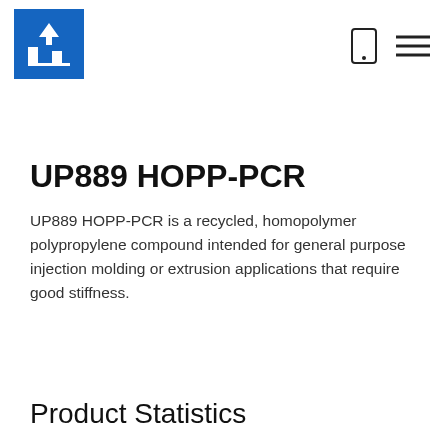UP logo, mobile icon, menu icon
UP889 HOPP-PCR
UP889 HOPP-PCR is a recycled, homopolymer polypropylene compound intended for general purpose injection molding or extrusion applications that require good stiffness.
Product Statistics